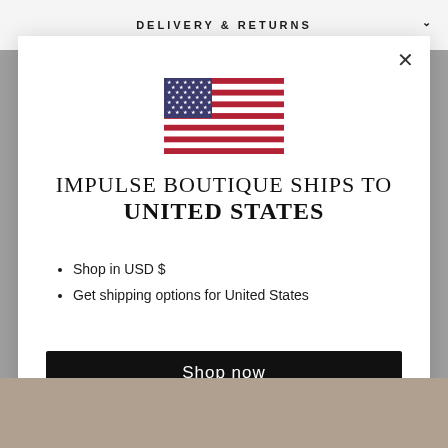DELIVERY & RETURNS
[Figure (illustration): US flag icon]
IMPULSE BOUTIQUE SHIPS TO UNITED STATES
Shop in USD $
Get shipping options for United States
Shop now
Change shipping country